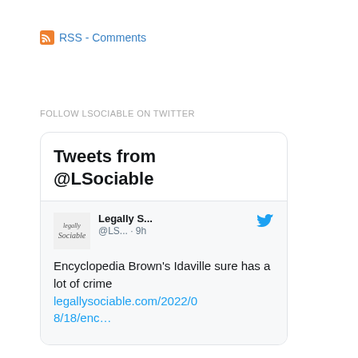RSS - Comments
FOLLOW LSOCIABLE ON TWITTER
[Figure (screenshot): Embedded Twitter widget showing 'Tweets from @LSociable' header, with a tweet from Legally S... (@LS...) posted 9h ago reading: 'Encyclopedia Brown's Idaville sure has a lot of crime legallysociable.com/2022/08/18/enc...']